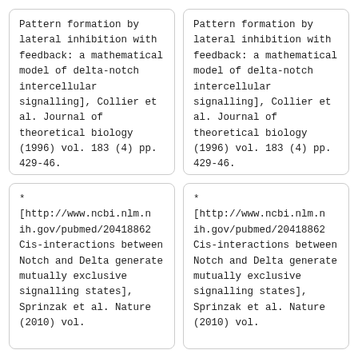Pattern formation by lateral inhibition with feedback: a mathematical model of delta-notch intercellular signalling], Collier et al. Journal of theoretical biology (1996) vol. 183 (4) pp. 429-46.
Pattern formation by lateral inhibition with feedback: a mathematical model of delta-notch intercellular signalling], Collier et al. Journal of theoretical biology (1996) vol. 183 (4) pp. 429-46.
* [http://www.ncbi.nlm.nih.gov/pubmed/20418862 Cis-interactions between Notch and Delta generate mutually exclusive signalling states], Sprinzak et al. Nature (2010) vol.
* [http://www.ncbi.nlm.nih.gov/pubmed/20418862 Cis-interactions between Notch and Delta generate mutually exclusive signalling states], Sprinzak et al. Nature (2010) vol.